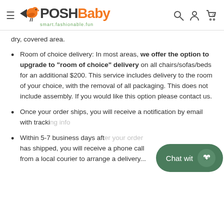PoshBaby — smart.fashionable.fun
dry, covered area.
Room of choice delivery: In most areas, we offer the option to upgrade to "room of choice" delivery on all chairs/sofas/beds for an additional $200. This service includes delivery to the room of your choice, with the removal of all packaging. This does not include assembly. If you would like this option please contact us.
Once your order ships, you will receive a notification by email with tracking info.
Within 5-7 business days after your order has shipped, you will receive a phone call from a local courier to arrange a delivery...